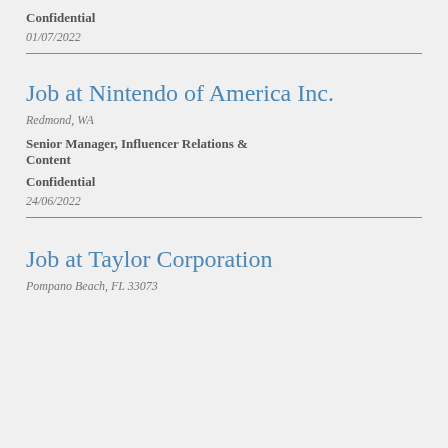Confidential
01/07/2022
Job at Nintendo of America Inc.
Redmond, WA
Senior Manager, Influencer Relations & Content
Confidential
24/06/2022
Job at Taylor Corporation
Pompano Beach, FL 33073